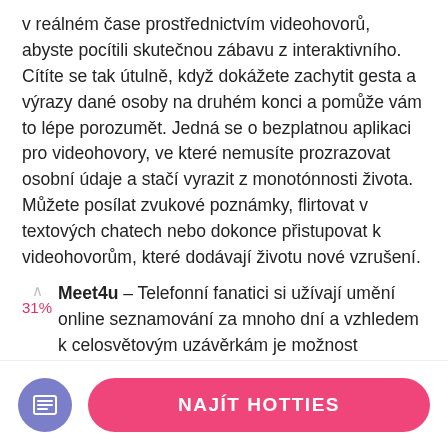v reálném čase prostřednictvím videohovorů, abyste pocítili skutečnou zábavu z interaktivního. Cítíte se tak útulně, když dokážete zachytit gesta a výrazy dané osoby na druhém konci a pomůže vám to lépe porozumět. Jedná se o bezplatnou aplikaci pro videohovory, ve které nemusíte prozrazovat osobní údaje a stačí vyrazit z monotónnosti života. Můžete posílat zvukové poznámky, flirtovat v textových chatech nebo dokonce přistupovat k videohovorům, které dodávají životu nové vzrušení.
Meet4u – Telefonní fanatici si užívají umění online seznamování za mnoho dní a vzhledem k celosvětovým uzávěrkám je možnost videozáznamu na historickém maximu. Meet4u je